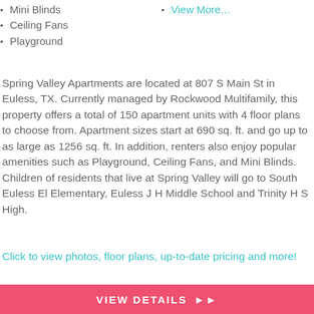Mini Blinds
View More…
Ceiling Fans
Playground
Spring Valley Apartments are located at 807 S Main St in Euless, TX. Currently managed by Rockwood Multifamily, this property offers a total of 150 apartment units with 4 floor plans to choose from. Apartment sizes start at 690 sq. ft. and go up to as large as 1256 sq. ft. In addition, renters also enjoy popular amenities such as Playground, Ceiling Fans, and Mini Blinds. Children of residents that live at Spring Valley will go to South Euless El Elementary, Euless J H Middle School and Trinity H S High.
Click to view photos, floor plans, up-to-date pricing and more!
VIEW DETAILS